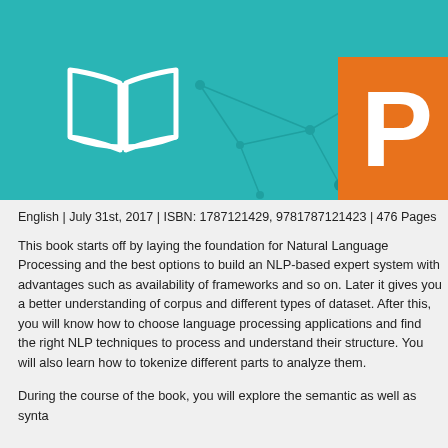[Figure (illustration): Book cover banner with teal/cyan background, network node diagram, white open book icon on the left, and an orange rectangle on the right showing a large white letter 'P']
English | July 31st, 2017 | ISBN: 1787121429, 9781787121423 | 476 Pages
This book starts off by laying the foundation for Natural Language Processing and the best options to build an NLP-based expert system with advantages such as availability of frameworks and so on. Later it gives you a better understanding of corpus and different types of dataset. After this, you will know how to choose language processing applications and find the right NLP techniques to process and understand their structure. You will also learn how to tokenize different parts to analyze them.
During the course of the book, you will explore the semantic as well as syntactic understanding and its capabilities in common langue...